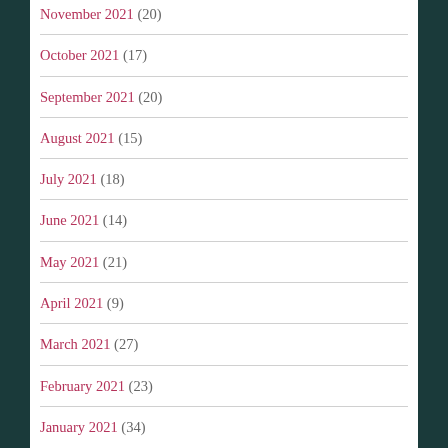November 2021 (20)
October 2021 (17)
September 2021 (20)
August 2021 (15)
July 2021 (18)
June 2021 (14)
May 2021 (21)
April 2021 (9)
March 2021 (27)
February 2021 (23)
January 2021 (34)